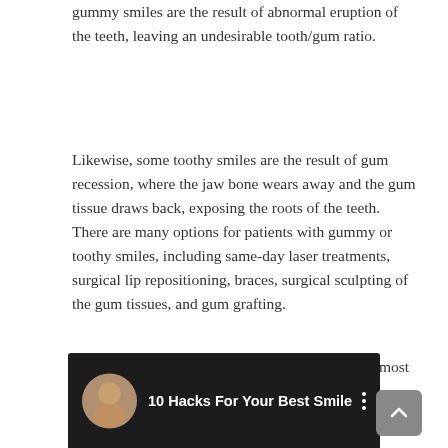gummy smiles are the result of abnormal eruption of the teeth, leaving an undesirable tooth/gum ratio.
Likewise, some toothy smiles are the result of gum recession, where the jaw bone wears away and the gum tissue draws back, exposing the roots of the teeth. There are many options for patients with gummy or toothy smiles, including same-day laser treatments, surgical lip repositioning, braces, surgical sculpting of the gum tissues, and gum grafting.
Check out this video for a few tips on getting the most out of your smile:
[Figure (screenshot): Video thumbnail for '10 Hacks For Your Best Smile' showing a dark background with a circular avatar photo of a woman on the left and the title text in white on the right, with a scroll-up button in the corner.]